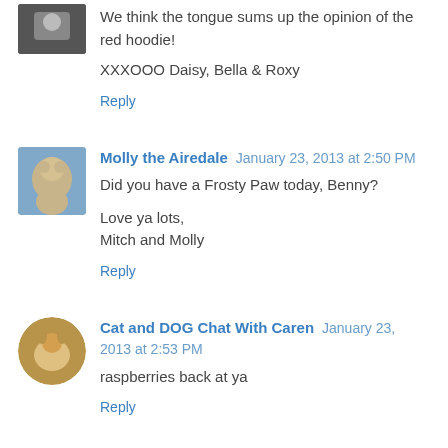We think the tongue sums up the opinion of the red hoodie!
XXXOOO Daisy, Bella & Roxy
Reply
Molly the Airedale  January 23, 2013 at 2:50 PM
Did you have a Frosty Paw today, Benny?
Love ya lots,
Mitch and Molly
Reply
Cat and DOG Chat With Caren  January 23, 2013 at 2:53 PM
raspberries back at ya
Reply